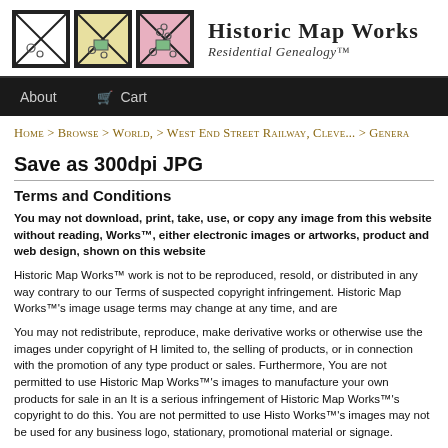[Figure (logo): Historic Map Works logo with three map-style icons and site name 'Historic Map Works - Residential Genealogy']
About   Cart
Home > Browse > World, > West End Street Railway, Cleve... > Genera
Save as 300dpi JPG
Terms and Conditions
You may not download, print, take, use, or copy any image from this website without reading, Works™, either electronic images or artworks, product and web design, shown on this website
Historic Map Works™ work is not to be reproduced, resold, or distributed in any way contrary to our Terms of suspected copyright infringement. Historic Map Works™'s image usage terms may change at any time, and are
You may not redistribute, reproduce, make derivative works or otherwise use the images under copyright of Historic Map Works. This includes, but is not limited to, the selling of products, or in connection with the promotion of any type product or sales. Furthermore, You are not permitted to use Historic Map Works™'s images to manufacture your own products for sale in any form. It is a serious infringement of Historic Map Works™'s copyright to do this. You are not permitted to use Historic Map Works™'s images may not be used for any business logo, stationary, promotional material or signage.
Copyright infringement of Historic Map Works™ works is treated very seriously. Generally, an informal cease appreciated at this stage without having to resort to legal action. Ebay auctions will be ended immediately through parties, including webhosts (eg, Oztion, Ebay, Second Life officials), and the courts. Those infringing copyright materials.